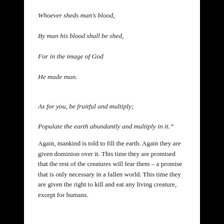Whoever sheds man's blood,
By man his blood shall be shed,
For in the image of God
He made man.
As for you, be fruitful and multiply;
Populate the earth abundantly and multiply in it.”
Again, mankind is told to fill the earth. Again they are given dominion over it. This time they are promised that the rest of the creatures will fear them – a promise that is only necessary in a fallen world. This time they are given the right to kill and eat any living creature, except for humans.